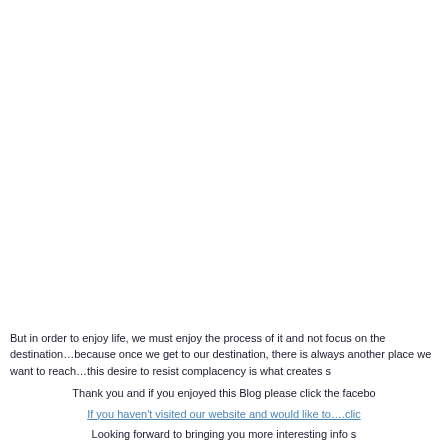But in order to enjoy life, we must enjoy the process of it and not focus on the destination…because once we get to our destination, there is always another place we want to reach…this desire to resist complacency is what creates s
Thank you and if you enjoyed this Blog please click the facebo
If you haven't visited our website and would like to….clic
Looking forward to bringing you more interesting info s